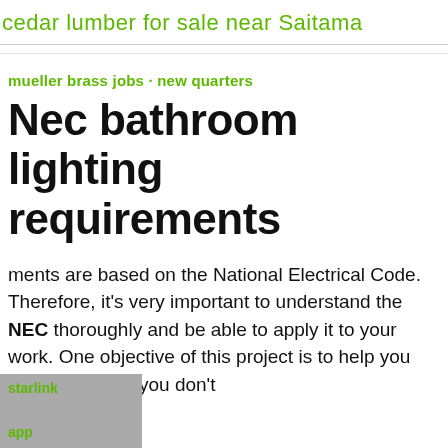cedar lumber for sale near Saitama
mueller brass jobs · new quarters
Nec bathroom lighting requirements
ments are based on the National Electrical Code. Therefore, it's very important to understand the NEC thoroughly and be able to apply it to your work. One objective of this project is to help you appreciate that you don't
[Figure (other): Gray advertisement overlay with green text reading 'starlink' and 'app']